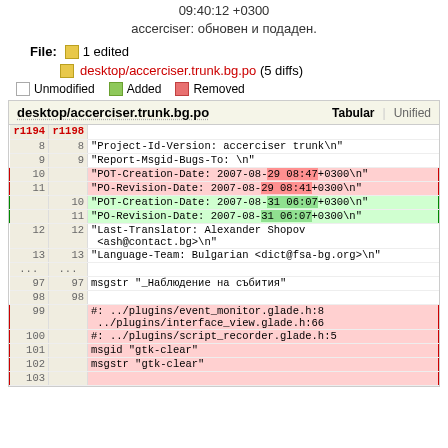09:40:12 +0300
accerciser: обновен и подаден.
File: 1 edited
desktop/accerciser.trunk.bg.po (5 diffs)
Unmodified  Added  Removed
| r1194 | r1198 |  |
| --- | --- | --- |
| 8 | 8 | "Project-Id-Version: accerciser trunk\n" |
| 9 | 9 | "Report-Msgid-Bugs-To: \n" |
| 10 |  | "POT-Creation-Date: 2007-08-29 08:47+0300\n" |
| 11 |  | "PO-Revision-Date: 2007-08-29 08:41+0300\n" |
|  | 10 | "POT-Creation-Date: 2007-08-31 06:07+0300\n" |
|  | 11 | "PO-Revision-Date: 2007-08-31 06:07+0300\n" |
| 12 | 12 | "Last-Translator: Alexander Shopov <ash@contact.bg>\n" |
| 13 | 13 | "Language-Team: Bulgarian <dict@fsa-bg.org>\n" |
| ... | ... |  |
| 97 | 97 | msgstr "_Наблюдение на събития" |
| 98 | 98 |  |
| 99 |  | #: ../plugins/event_monitor.glade.h:8
../plugins/interface_view.glade.h:66 |
| 100 |  | #: ../plugins/script_recorder.glade.h:5 |
| 101 |  | msgid "gtk-clear" |
| 102 |  | msgstr "gtk-clear" |
| 103 |  |  |